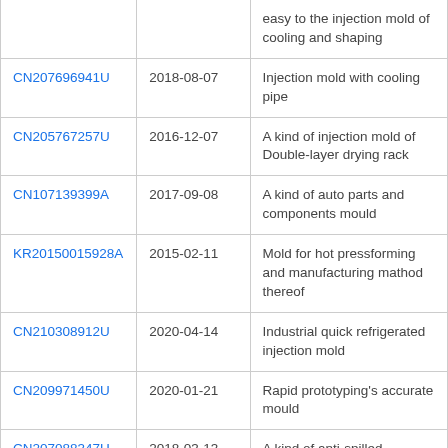| Patent ID | Date | Description |
| --- | --- | --- |
|  |  | easy to the injection mold of cooling and shaping |
| CN207696941U | 2018-08-07 | Injection mold with cooling pipe |
| CN205767257U | 2016-12-07 | A kind of injection mold of Double-layer drying rack |
| CN107139399A | 2017-09-08 | A kind of auto parts and components mould |
| KR20150015928A | 2015-02-11 | Mold for hot pressforming and manufacturing mathod thereof |
| CN210308912U | 2020-04-14 | Industrial quick refrigerated injection mold |
| CN209971450U | 2020-01-21 | Rapid prototyping&#39;s accurate mould |
| CN207088347U | 2018-03-13 | A kind of anti-spilled... |